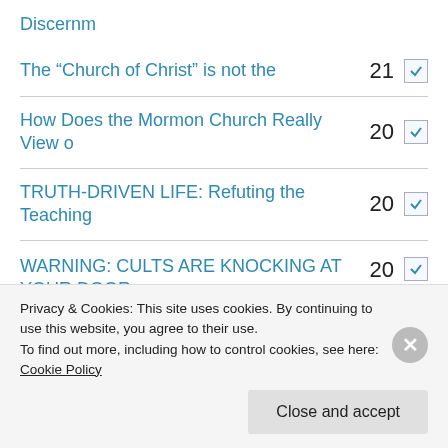Discernm
The “Church of Christ” is not the  21
How Does the Mormon Church Really View o  20
TRUTH-DRIVEN LIFE: Refuting the Teaching  20
WARNING: CULTS ARE KNOCKING AT YOUR DOOR  20
A Refutation of the Mormon Doctrine of t  20
Privacy & Cookies: This site uses cookies. By continuing to use this website, you agree to their use. To find out more, including how to control cookies, see here: Cookie Policy
Close and accept